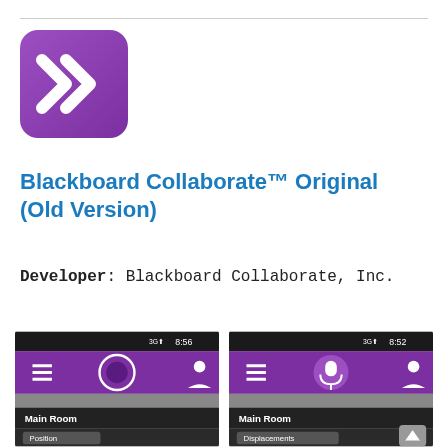[Figure (logo): Blackboard Collaborate app icon: purple rounded square with white double chevron arrows pointing right]
Blackboard Collaborate™ Original (Old Version)
Developer: Blackboard Collaborate, Inc.
[Figure (screenshot): Mobile app screenshot showing Blackboard Collaborate main room interface with a circular camera icon, hamburger menu, people icon, 'Main Room' label and 'Position' at bottom. Time shown: 8:56]
[Figure (screenshot): Mobile app screenshot showing Blackboard Collaborate main room interface with a microphone icon, hamburger menu, people icon, 'Main Room' label and 'Displacements' at bottom. Time shown: 8:52]